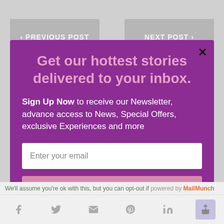[Figure (screenshot): Background with Previous Post and Next Post navigation buttons, grey background]
Get our hottest stories delivered to your inbox.
Sign Up Now to receive our Newsletter, advance access to News, Special Offers, exclusive Experiences and more
[Figure (screenshot): Email input field with placeholder text 'Enter your email']
[Figure (screenshot): Submit button in pink/mauve color]
We'll assume you're ok with this, but you can opt-out if
powered by MailMunch
[Figure (screenshot): Social share bar with Facebook, Twitter, Email, Pinterest, LinkedIn and share icons]